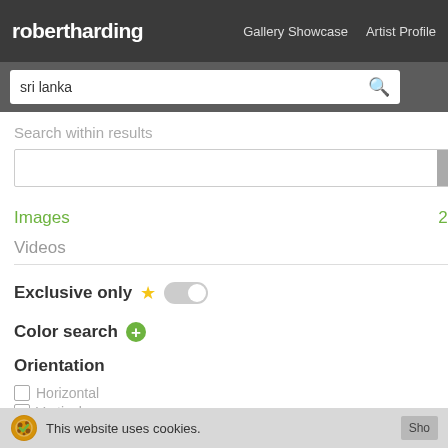robertharding — Gallery Showcase  Artist Profile
sri lanka (search query)
Search within results
Images  2194
Videos  387
Exclusive only ★
Color search ⊕
Orientation
Horizontal
Vertical
Panoramic
[Figure (photo): Ancient Sri Lankan fresco/cave painting depicting a figure in orange and gold tones]
[Figure (photo): Elephant wading in shallow water, Sri Lanka]
[Figure (photo): Partial view of green foliage/jungle scene, Sri Lanka]
This website uses cookies.  Sho